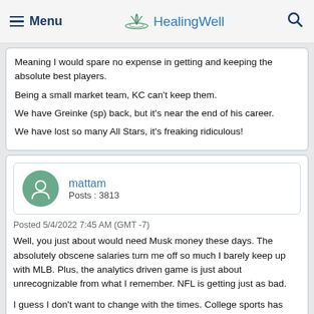Menu | HealingWell
Meaning I would spare no expense in getting and keeping the absolute best players.
Being a small market team, KC can't keep them.
We have Greinke (sp) back, but it's near the end of his career.
We have lost so many All Stars, it's freaking ridiculous!
mattam
Posts : 3813
Posted 5/4/2022 7:45 AM (GMT -7)
Well, you just about would need Musk money these days. The absolutely obscene salaries turn me off so much I barely keep up with MLB. Plus, the analytics driven game is just about unrecognizable from what I remember. NFL is getting just as bad.

I guess I don't want to change with the times. College sports has been my refuge, but it's getting ridiculous too